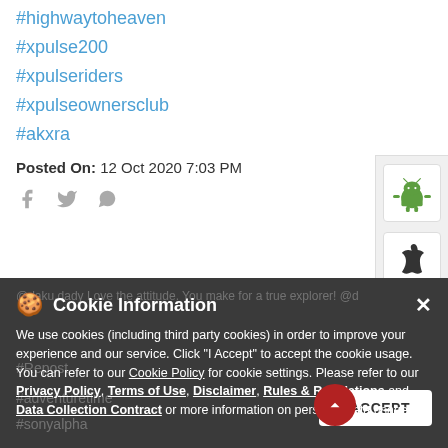#highwaytoheaven
#xpulse200
#xpulseriders
#xpulseownersclub
#akxra
Posted On: 12 Oct 2020 7:03 PM
[Figure (screenshot): Social share icons: Facebook, Twitter, WhatsApp]
[Figure (screenshot): Android and Apple app store icon buttons on right side panel]
Cookie Information
We use cookies (including third party cookies) in order to improve your experience and our service. Click "I Accept" to accept the cookie usage. You can refer to our Cookie Policy for cookie settings. Please refer to our Privacy Policy, Terms of Use, Disclaimer, Rules & Regulations and Data Collection Contract or more information on personal data usage.
#Repost
#adventuretime
#sonyalpha